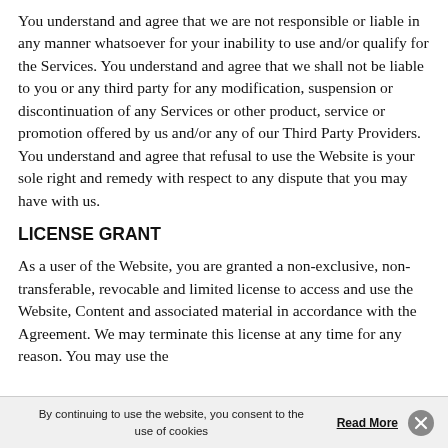You understand and agree that we are not responsible or liable in any manner whatsoever for your inability to use and/or qualify for the Services. You understand and agree that we shall not be liable to you or any third party for any modification, suspension or discontinuation of any Services or other product, service or promotion offered by us and/or any of our Third Party Providers. You understand and agree that refusal to use the Website is your sole right and remedy with respect to any dispute that you may have with us.
LICENSE GRANT
As a user of the Website, you are granted a non-exclusive, non-transferable, revocable and limited license to access and use the Website, Content and associated material in accordance with the Agreement. We may terminate this license at any time for any reason. You may use the
By continuing to use the website, you consent to the use of cookies